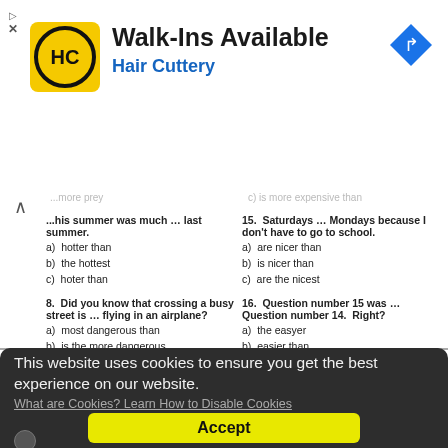[Figure (infographic): Hair Cuttery advertisement banner with yellow HC logo, 'Walk-Ins Available' heading, 'Hair Cuttery' subtitle in blue, and a blue navigation arrow icon on the right.]
...his summer was much … last summer.
a) hotter than
b) the hottest
c) hoter than
15. Saturdays … Mondays because I don't have to go to school.
a) are nicer than
b) is nicer than
c) are the nicest
8. Did you know that crossing a busy street is … flying in an airplane?
a) most dangerous than
b) is the more dangerous
c) more dangerous than
16. Question number 15 was … Question number 14. Right?
a) the easyer
b) easier than
c) easyer than
This website uses cookies to ensure you get the best experience on our website.
What are Cookies? Learn How to Disable Cookies
Accept